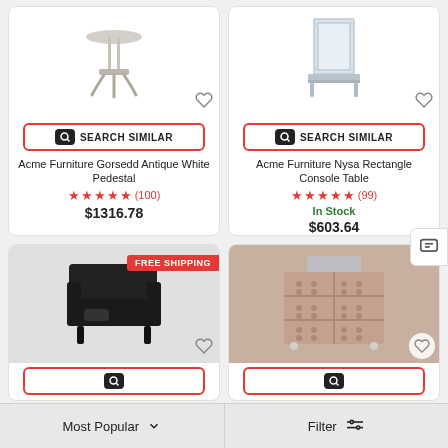[Figure (screenshot): E-commerce product listing page showing 4 furniture products in a 2-column grid. Top row: Acme Furniture Gorsedd Antique White Pedestal ($1316.78, 5 stars, 100 reviews) and Acme Furniture Nysa Rectangle Console Table ($603.64, 5 stars, 99 reviews, In Stock). Bottom row: Black armchair with FREE SHIPPING badge and a pink tufted dresser. Bottom bar has Most Popular sort and Filter options.]